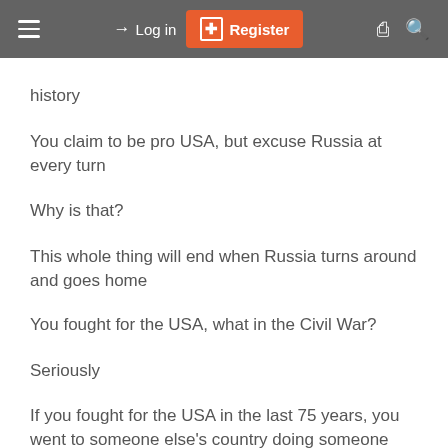Log in | Register
history
You claim to be pro USA, but excuse Russia at every turn
Why is that?
This whole thing will end when Russia turns around and goes home
You fought for the USA, what in the Civil War?
Seriously
If you fought for the USA in the last 75 years, you went to someone else's country doing someone else's business.